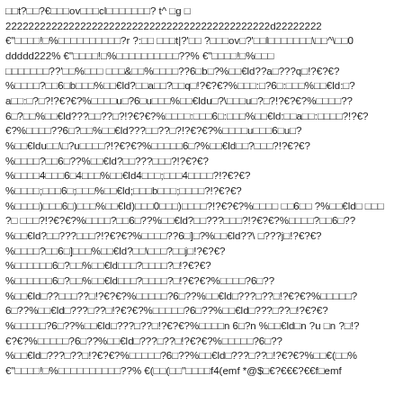□□t?□□?€□□□ov□□□cl□□□□□□□? t^ □g □ 2222222222222222222222222222222222222222222222d22222222 €"□□□□!□%□□□□□□□□□□?r ?:□□ □□□t|?'□□ ?□□□ov□?'□□l□□□□□□□\□□^\□□0 ddddd222% €"□□□□!□%□□□□□□□□□□??% €"□□□□!□%□□□ □□□□□□□??'□□%□□□ □□□&□□%□□□□??6□b□?%□□€ld??a□???q□!?€?€? %□□□□?□□6□b□□□%□□€ld?□□a□□?□□q□!?€?€?%□□□:□?6□:□□□%□□€ld:□? a□□:□?□?!?€?€?%□□□□u□?6□u□□□%□□€ldu□?\□□□u□?□?!?€?€?%□□□□?? 6□?□□%□□€ld???□□??□?!?€?€?%□□□□:□□□6□:□□□%□□€ld:□□a□□:□□□□?!?€? €?%□□□□??6□?□□%□□€ld???□□??□?!?€?€?%□□□□u□□□6□u□? %□□€ldu□□\□?u□□□□?!?€?€?%□□□□□6□?%□□€ld□□?□□□?!?€?€? %□□□□?□□6□??%□□€ld?□□???□□□?!?€?€? %□□□□4□□□6□4□□□%□□€ld4□□□;□□□4□□□□?!?€?€? %□□□□;□□□6□;□□□%□□€ld;□□□b□□□;□□□□?!?€?€? %□□□□)□□□6□)□□□%□□€ld)□□□0□□□)□□□□?!?€?€?%□□□□ □□6□□ ?%□□€ld□ □□□ ?□ □□□?!?€?€?%□□□□?□□6□??%□□€ld?□□???□□□?!?€?€?%□□□□?□□6□?? %□□€ld?□□???□□□?!?€?€?%□□□□??6□]□?%□□€ld??\□???j□!?€?€? %□□□□?□□6□]□□□%□□€ld?□□\□□□?□□j□!?€?€? %□□□□□□6□?□□%□□€ld□□□?□□□□?□!?€?€? %□□□□□□6□?□□%□□€ld□□□?□□□□?□!?€?€?%□□□□?6□?? %□□€ld□??□□□??□!?€?€?%□□□□□?6□??%□□€ld□???□??□!?€?€?%□□□□□? 6□??%□□€ld□???□??□!?€?€?%□□□□□?6□??%□□€ld□???□??□!?€?€? %□□□□□?6□??%□□€ld□???□??□!?€?€?%□□□□n 6□?n %□□€ld□n ?u □n ?□!? €?€?%□□□□□?6□??%□□€ld□???□??□!?€?€?%□□□□□?6□?? %□□€ld□???□??□!?€?€?%□□□□□?6□??%□□€ld□???□??□!?€?€?%□□€(□□% €"□□□□!□%□□□□□□□□□□??% €(□□(□□"□□□□f4(emf *@$□€?€€€?€€f□emf